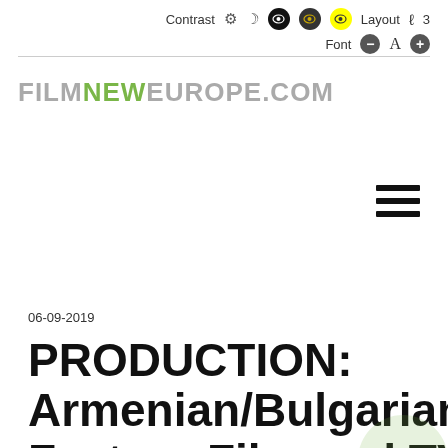Contrast Layout Font
[Figure (logo): FILMNEWEUROPE.COM logo with NEW in green]
[Figure (other): Hamburger menu icon (three horizontal lines)]
06-09-2019
PRODUCTION: Armenian/Bulgarian/German Feature Film and TV